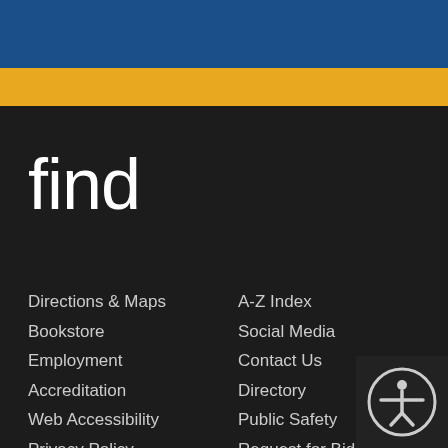find
Directions & Maps
Bookstore
Employment
Accreditation
Web Accessibility
Privacy Policy
Forms & Documents
A-Z Index
Social Media
Contact Us
Directory
Public Safety
Request for Bids
Title IX
[Figure (illustration): Accessibility/disability icon — a circular badge with a person figure with outstretched arms]